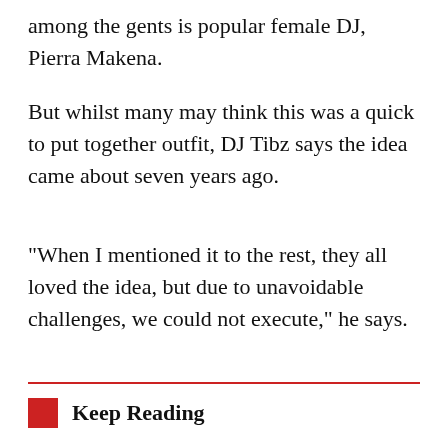among the gents is popular female DJ, Pierra Makena.
But whilst many may think this was a quick to put together outfit, DJ Tibz says the idea came about seven years ago.
“When I mentioned it to the rest, they all loved the idea, but due to unavoidable challenges, we could not execute,” he says.
Keep Reading